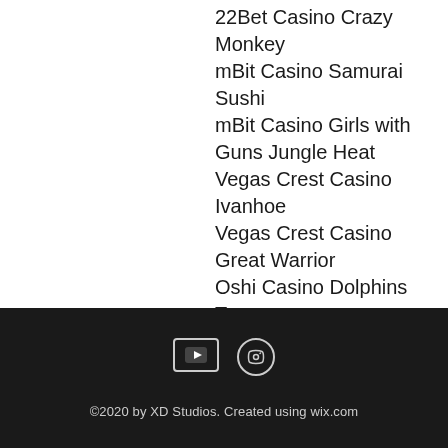22Bet Casino Crazy Monkey
mBit Casino Samurai Sushi
mBit Casino Girls with Guns Jungle Heat
Vegas Crest Casino Ivanhoe
Vegas Crest Casino Great Warrior
Oshi Casino Dolphins Treasure
https://www.wellspringmedicalspa.com/profile/casino-theme-table-decorations-8673/profile https://www.horsediscovery.com/profile/vegas-casino-with-cowboy-1268/profile https://www.xrayspics.com/profile/21-casino-free-spins-no-deposit-1865/profile https://www.impactdt.com/profile/northern-ontario-pickerel-slot-size-5168/profile
©2020 by XD Studios. Created using wix.com